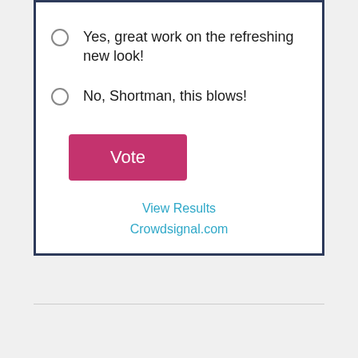Yes, great work on the refreshing new look!
No, Shortman, this blows!
[Figure (other): Pink/magenta Vote button]
View Results
Crowdsignal.com